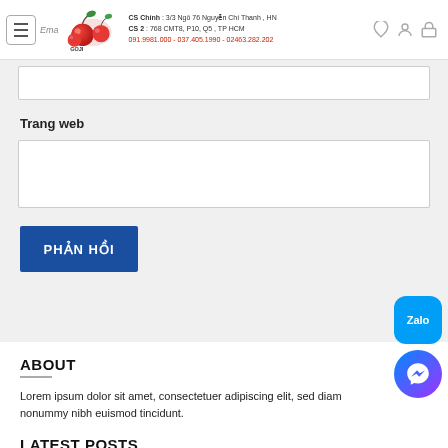CS Chinh : 3/3 Ngô 76 Nguyễn Chí Thanh , HN | CS 2 : 768 CMT8, P10, Q5 , TP HCM | 091.9981.000 - 037.405.1990 - 02463.282.202
Trang web
PHẢN HỒI
ABOUT
Lorem ipsum dolor sit amet, consectetuer adipiscing elit, sed diam nonummy nibh euismod tincidunt.
LATEST POSTS